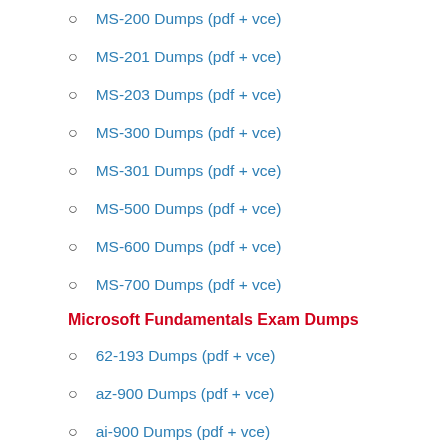MS-200 Dumps (pdf + vce)
MS-201 Dumps (pdf + vce)
MS-203 Dumps (pdf + vce)
MS-300 Dumps (pdf + vce)
MS-301 Dumps (pdf + vce)
MS-500 Dumps (pdf + vce)
MS-600 Dumps (pdf + vce)
MS-700 Dumps (pdf + vce)
Microsoft Fundamentals Exam Dumps
62-193 Dumps (pdf + vce)
az-900 Dumps (pdf + vce)
ai-900 Dumps (pdf + vce)
DP-900 Dumps (pdf + vce)
MB-901 Dumps (pdf + vce)
MB-910 Dumps (pdf + vce)
MB-920 Dumps (pdf + vce)
pl-900 Dumps (pdf + vce)
MS-900 Dumps (pdf + vce)
SC-900 Dumps (pdf + vce)
Microsoft Certified Exam D...